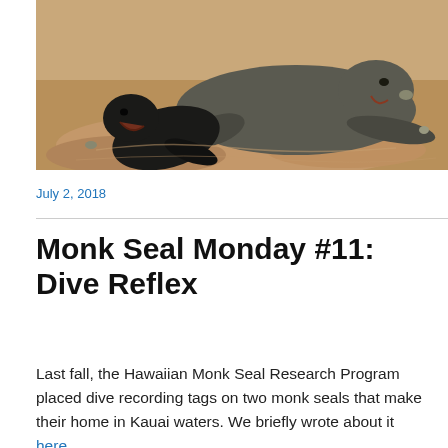[Figure (photo): Two Hawaiian monk seals resting on sandy beach — a large adult seal and a small black newborn pup lying on churned sand.]
July 2, 2018
Monk Seal Monday #11: Dive Reflex
Last fall, the Hawaiian Monk Seal Research Program placed dive recording tags on two monk seals that make their home in Kauai waters. We briefly wrote about it here.